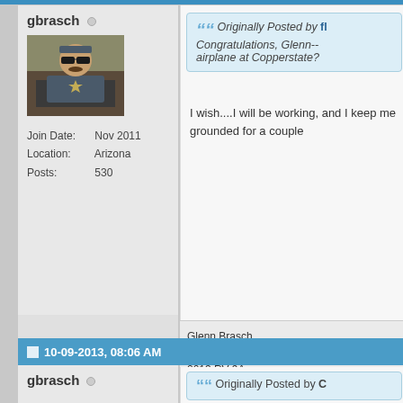gbrasch - forum post
gbrasch (offline)
[Figure (photo): Profile photo of a person in a cockpit wearing aviator sunglasses and a military-style shirt]
Join Date: Nov 2011
Location: Arizona
Posts: 530
Originally Posted by fl...
Congratulations, Glenn-- airplane at Copperstate?
I wish....I will be working, and I keep me grounded for a couple
Glenn Brasch
KRYN Tucson, Arizona
2013 RV-9A
Medevac helicopter pilot (Ret)
EAA member since 1980
Owner, "Airport Courtesy Cars"
www.airportcourtesycars.com
Volunteer Mentor www.SoAZTe-
10-09-2013, 08:06 AM
gbrasch (offline)
Originally Posted by C...